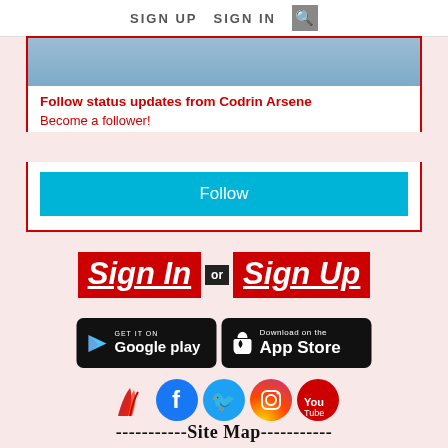SIGN UP  SIGN IN  🔍
[Figure (screenshot): Partial photo of a person at top of follow card]
Follow status updates from Codrin Arsene
Become a follower!
Follow
[Figure (screenshot): Sign In or Sign Up buttons in red]
[Figure (screenshot): GET IT ON Google play and Download on the App Store buttons]
[Figure (screenshot): Social media icons: site logo, Facebook, Twitter, Instagram, YouTube]
-----------Site Map-----------